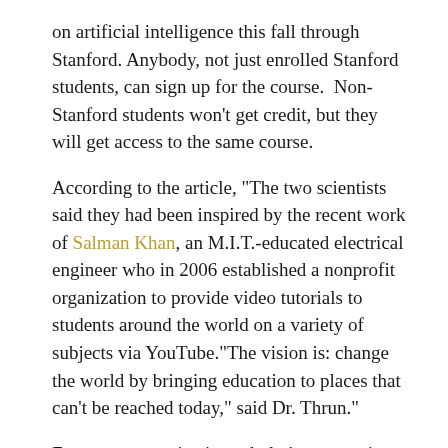on artificial intelligence this fall through Stanford. Anybody, not just enrolled Stanford students, can sign up for the course. Non-Stanford students won't get credit, but they will get access to the same course.
According to the article, “The two scientists said they had been inspired by the recent work of Salman Khan, an M.I.T.-educated electrical engineer who in 2006 established a nonprofit organization to provide video tutorials to students around the world on a variety of subjects via YouTube.“The vision is: change the world by bringing education to places that can’t be reached today,” said Dr. Thrun.”
From a communication scholar’s perspective, opening up a course to 58,000 students is most certainly changing the world through education. So how can technology make it happen?
Apparently it starts with the basics of streaming…